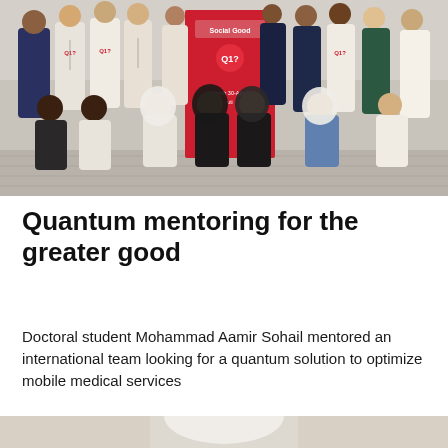[Figure (photo): Group photo of approximately 15 young people, some wearing white t-shirts with a red logo, standing and kneeling in front of a red banner. The banner text reads 'Social Good' and 'March 30-Apr 1'. This appears to be a hackathon or tech event team photo.]
Quantum mentoring for the greater good
Doctoral student Mohammad Aamir Sohail mentored an international team looking for a quantum solution to optimize mobile medical services
[Figure (photo): Partial portrait photo of a person wearing a white head covering, visible from roughly chest up, cropped at bottom of page.]